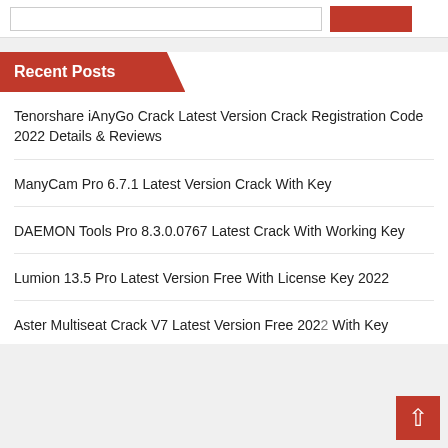Recent Posts
Tenorshare iAnyGo Crack Latest Version Crack Registration Code 2022 Details & Reviews
ManyCam Pro 6.7.1 Latest Version Crack With Key
DAEMON Tools Pro 8.3.0.0767 Latest Crack With Working Key
Lumion 13.5 Pro Latest Version Free With License Key 2022
Aster Multiseat Crack V7 Latest Version Free 2022 With Key